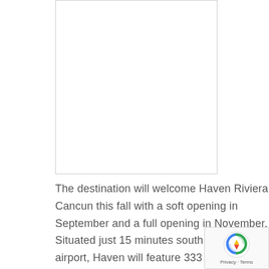[Figure (other): Empty white box with thin border — placeholder image area]
The destination will welcome Haven Riviera Cancun this fall with a soft opening in September and a full opening in November. Situated just 15 minutes south from the airport, Haven will feature 333 suites in its